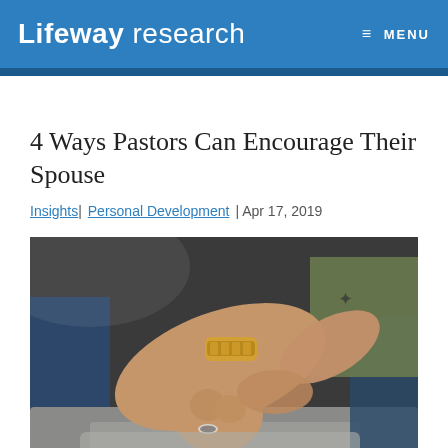Lifeway research  MENU
4 Ways Pastors Can Encourage Their Spouse
Insights| Personal Development | Apr 17, 2019
[Figure (photo): Close-up photo of two people holding hands, one wearing a gold bracelet/watch and a wedding ring, the other with a tattoo on their forearm, seated on a gray couch]